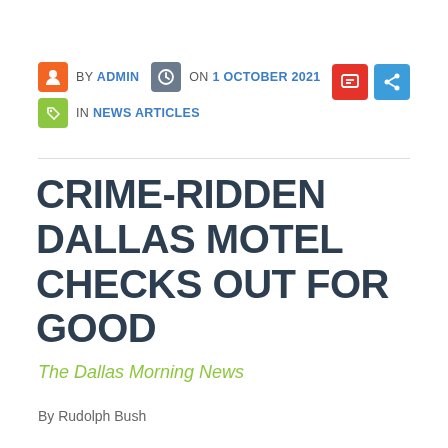BY ADMIN  ON 1 OCTOBER 2021  IN NEWS ARTICLES
CRIME-RIDDEN DALLAS MOTEL CHECKS OUT FOR GOOD
The Dallas Morning News
By Rudolph Bush